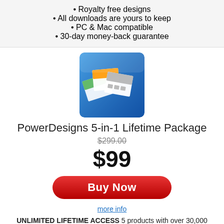Royalty free designs
All downloads are yours to keep
PC & Mac compatible
30-day money-back guarantee
[Figure (illustration): Product box image showing a collage of design templates on a blue background]
PowerDesigns 5-in-1 Lifetime Package
$299.00
$99
Buy Now
more info
UNLIMITED LIFETIME ACCESS 5 products with over 30,000 designs. PowerPoint Templates, Animated Templates, Graphics, Icons and Slides